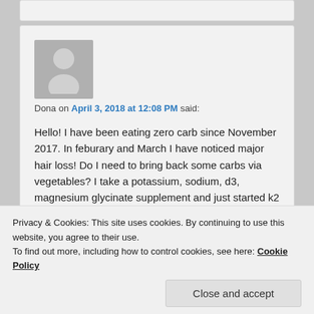[Figure (illustration): Grey avatar placeholder image showing a silhouette of a person]
Dona on April 3, 2018 at 12:08 PM said:
Hello! I have been eating zero carb since November 2017. In feburary and March I have noticed major hair loss! Do I need to bring back some carbs via vegetables? I take a potassium, sodium, d3, magnesium glycinate supplement and just started k2 and zinc supplements hoping this will help. I am 42. 5'4. I jog and workout every day.
Privacy & Cookies: This site uses cookies. By continuing to use this website, you agree to their use.
To find out more, including how to control cookies, see here: Cookie Policy